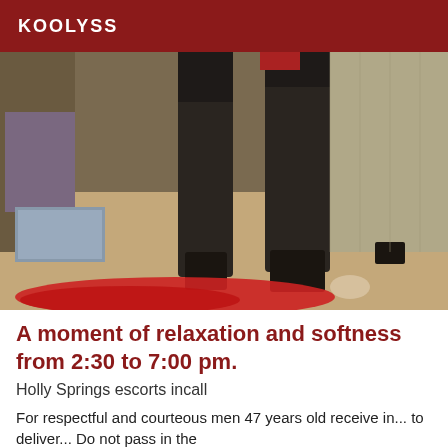KOOLYSS
[Figure (photo): Photo showing the lower body of a person wearing tall black boots, standing on a light-colored floor near curtains. A red garment is visible on the floor in the foreground.]
A moment of relaxation and softness from 2:30 to 7:00 pm.
Holly Springs escorts incall
For respectful and courteous men 47 years old receive in... to deliver... Do not pass in the